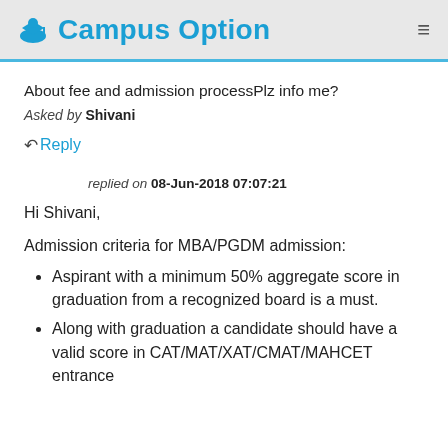Campus Option
About fee and admission processPlz info me?
Asked by Shivani
Reply
replied on 08-Jun-2018 07:07:21
Hi Shivani,
Admission criteria for MBA/PGDM admission:
Aspirant with a minimum 50% aggregate score in graduation from a recognized board is a must.
Along with graduation a candidate should have a valid score in CAT/MAT/XAT/CMAT/MAHCET entrance